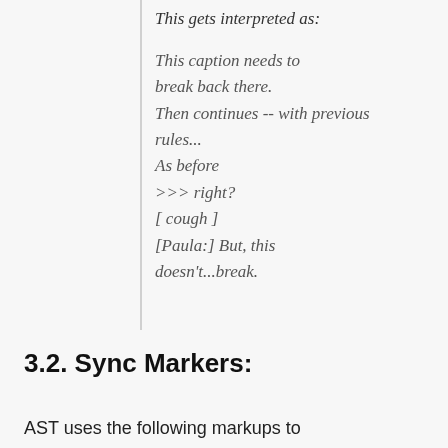This gets interpreted as:
This caption needs to break back there.
Then continues -- with previous rules...
As before
>>> right?
[ cough ]
[Paula:] But, this doesn't...break.
3.2. Sync Markers:
AST uses the following markups to